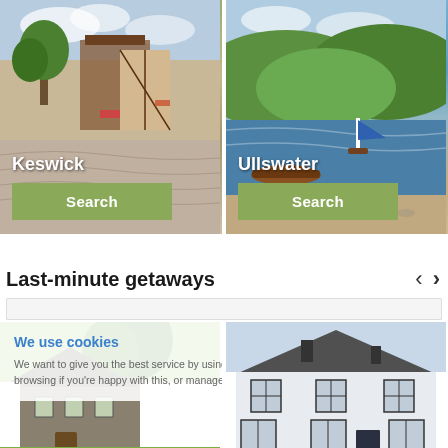[Figure (photo): Keswick town centre street with shops, trees and pedestrians]
[Figure (photo): Ullswater lake with sailboats and green hills in background]
Last-minute getaways
[Figure (photo): Stone cottage with large tree and green lawn]
[Figure (photo): White rendered house/hotel exterior]
We use cookies
We want to give you the best service by using cookies. Continue browsing if you're happy with this, or manage cookies.